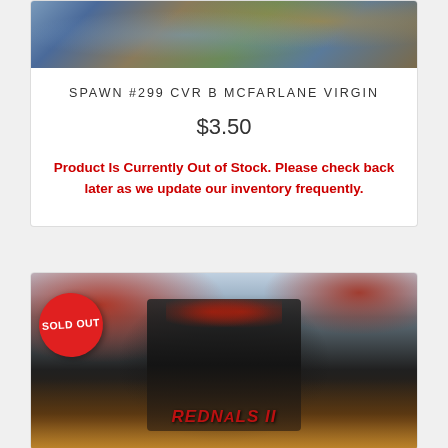[Figure (illustration): Comic book cover art for Spawn #299 CVR B McFarlane Virgin - cropped top portion showing colorful monster/creature artwork]
SPAWN #299 CVR B MCFARLANE VIRGIN
$3.50
Product Is Currently Out of Stock. Please check back later as we update our inventory frequently.
[Figure (illustration): Comic book cover showing Spawn character in black armor with red cape, holding weapons, with 'REDBALLS II' text on cover. Red oval 'SOLD OUT' badge overlaid on image.]